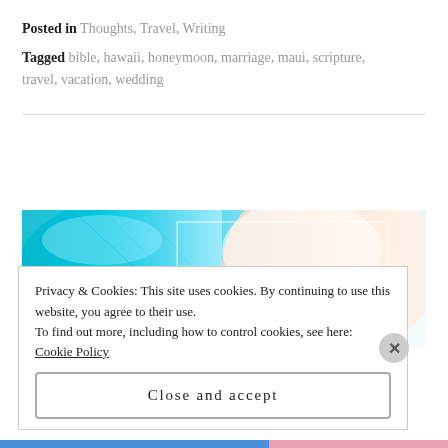Posted in Thoughts, Travel, Writing
Tagged bible, hawaii, honeymoon, marriage, maui, scripture, travel, vacation, wedding
[Figure (photo): Close-up photo of a person with teal/blue hair, side profile showing face and shoulder with bright, overexposed lighting]
Privacy & Cookies: This site uses cookies. By continuing to use this website, you agree to their use.
To find out more, including how to control cookies, see here: Cookie Policy
Close and accept